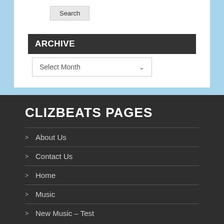Search
ARCHIVE
Select Month
CLIZBEATS PAGES
About Us
Contact Us
Home
Music
New Music – Test